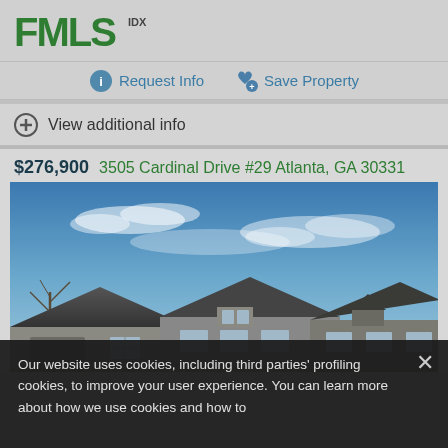[Figure (logo): FMLS IDX logo in green]
Request Info   Save Property
View additional info
$276,900   3505 Cardinal Drive #29 Atlanta, GA 30331
[Figure (photo): Exterior photo of townhomes with gray roofs against a blue sky]
Our website uses cookies, including third parties' profiling cookies, to improve your user experience. You can learn more about how we use cookies and how to